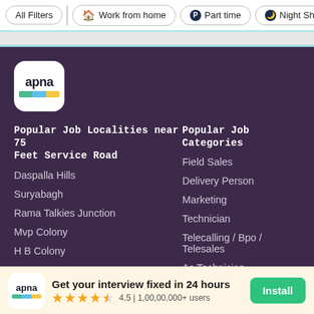All Filters | Work from home | Part time | Night Sh...
[Figure (logo): Apna app logo - white rounded square with 'apna' text and colored stripe (green, blue, yellow)]
Popular Job Localities near 75 Feet Service Road
Popular Job Categories
Daspalla Hills
Field Sales
Suryabagh
Delivery Person
Rama Talkies Junction
Marketing
Mvp Colony
Technician
H B Colony
Telecalling / Bpo / Telesales
Ac Technician
Get your interview fixed in 24 hours
4.5 | 1,00,00,000+ users